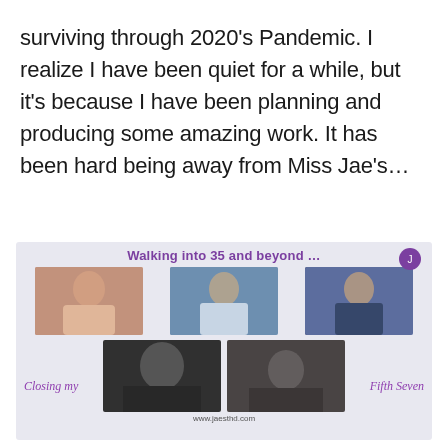surviving through 2020's Pandemic.  I realize I have been quiet for a while, but it's because I have been planning and producing some amazing work. It has been hard being away from Miss Jae's…
[Figure (photo): A collage image with purple text 'Walking into 35 and beyond ...' at top, three color photos of a woman at various ages in the top row, two black-and-white photos in the bottom row, with cursive purple text 'Closing my' on the left and 'Fifth Seven' on the right. Website URL www.jaesthd.com at the bottom.]